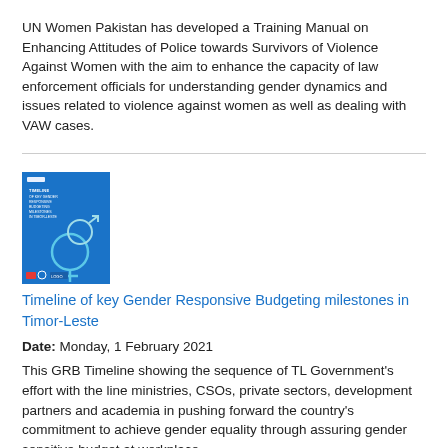UN Women Pakistan has developed a Training Manual on Enhancing Attitudes of Police towards Survivors of Violence Against Women with the aim to enhance the capacity of law enforcement officials for understanding gender dynamics and issues related to violence against women as well as dealing with VAW cases.
[Figure (illustration): Book cover: blue background with gender symbols and text 'TIMELINE OF KEY GENDER RESPONSIVE BUDGETING MILESTONES IN TIMOR-LESTE']
Timeline of key Gender Responsive Budgeting milestones in Timor-Leste
Date: Monday, 1 February 2021
This GRB Timeline showing the sequence of TL Government's effort with the line ministries, CSOs, private sectors, development partners and academia in pushing forward the country's commitment to achieve gender equality through assuring gender sensitive budget at workplace.